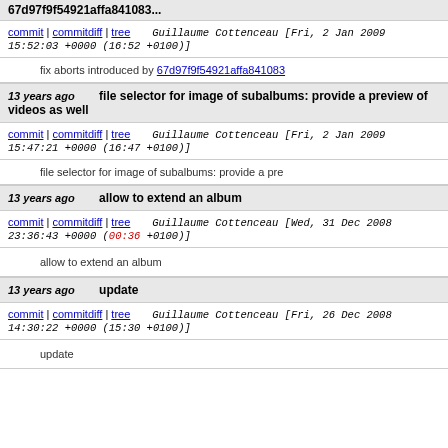67d97f9f54921affa841083...
commit | commitdiff | tree    Guillaume Cottenceau [Fri, 2 Jan 2009 15:52:03 +0000 (16:52 +0100)]
fix aborts introduced by 67d97f9f54921affa841083...
13 years ago    file selector for image of subalbums: provide a preview of videos as well
commit | commitdiff | tree    Guillaume Cottenceau [Fri, 2 Jan 2009 15:47:21 +0000 (16:47 +0100)]
file selector for image of subalbums: provide a pre...
13 years ago    allow to extend an album
commit | commitdiff | tree    Guillaume Cottenceau [Wed, 31 Dec 2008 23:36:43 +0000 (00:36 +0100)]
allow to extend an album
13 years ago    update
commit | commitdiff | tree    Guillaume Cottenceau [Fri, 26 Dec 2008 14:30:22 +0000 (15:30 +0100)]
update